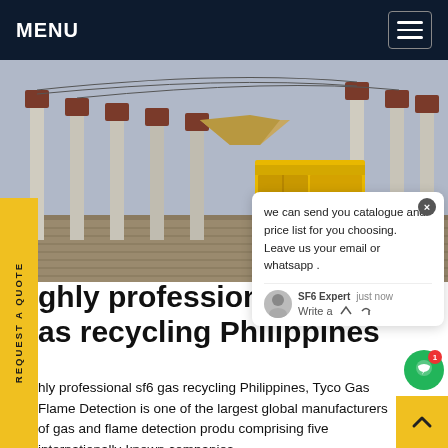MENU
[Figure (photo): Electrical substation with large columns and transformers, a yellow truck/container visible in the background, overcast sky.]
highly professional sf6 gas recycling Philippines
highly professional sf6 gas recycling Philippines, Tyco Gas Flame Detection is one of the largest global manufacturers of gas and flame detection products comprising five internationally-known companies